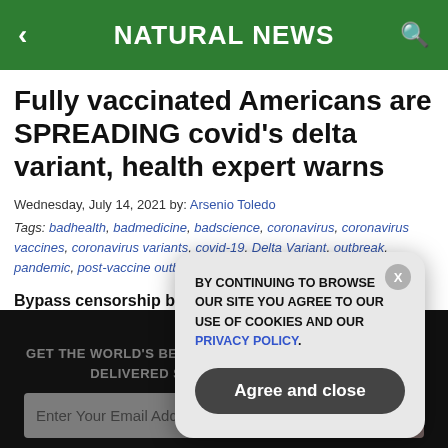NATURAL NEWS
Fully vaccinated Americans are SPREADING covid's delta variant, health expert warns
Wednesday, July 14, 2021 by: Arsenio Toledo
Tags: badhealth, badmedicine, badscience, coronavirus, coronavirus vaccines, coronavirus variants, covid-19, Delta Variant, outbreak, pandemic, post-vaccine outbreak, vaccine transmission, vaccines
Bypass censorship by sharing this link:
GET THE WORLD'S BEST NATURAL HEALTH NEWSLETTER DELIVERED STRAIGHT TO YOUR INBOX
BY CONTINUING TO BROWSE OUR SITE YOU AGREE TO OUR USE OF COOKIES AND OUR PRIVACY POLICY.
Agree and close